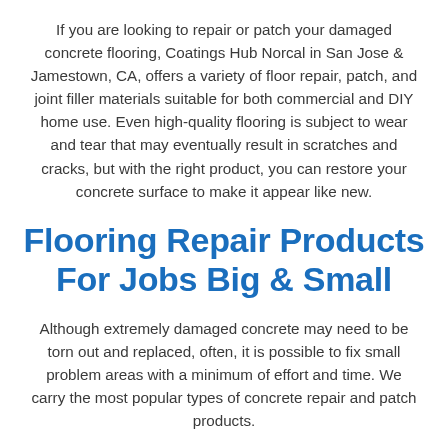If you are looking to repair or patch your damaged concrete flooring, Coatings Hub Norcal in San Jose & Jamestown, CA, offers a variety of floor repair, patch, and joint filler materials suitable for both commercial and DIY home use. Even high-quality flooring is subject to wear and tear that may eventually result in scratches and cracks, but with the right product, you can restore your concrete surface to make it appear like new.
Flooring Repair Products For Jobs Big & Small
Although extremely damaged concrete may need to be torn out and replaced, often, it is possible to fix small problem areas with a minimum of effort and time. We carry the most popular types of concrete repair and patch products.